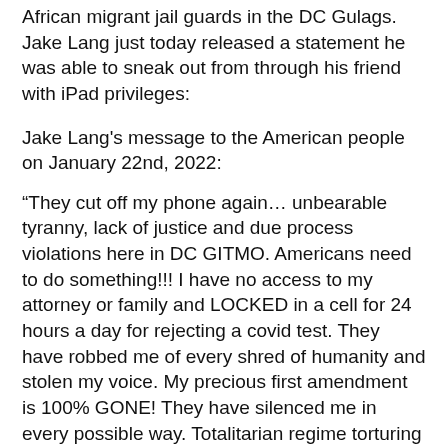African migrant jail guards in the DC Gulags. Jake Lang just today released a statement he was able to sneak out from through his friend with iPad privileges:
Jake Lang's message to the American people on January 22nd, 2022:
“They cut off my phone again… unbearable tyranny, lack of justice and due process violations here in DC GITMO. Americans need to do something!!! I have no access to my attorney or family and LOCKED in a cell for 24 hours a day for rejecting a covid test. They have robbed me of every shred of humanity and stolen my voice. My precious first amendment is 100% GONE! They have silenced me in every possible way. Totalitarian regime torturing patriotic prisoners on America soil, down the street from the Capitol of this once great Republic.  Disgusted with my treatment doesn't even begin to explain it. Dogs in kennels have more rights then I do. I haven't even been found guilty of a crime!! They have accused me of a crime, thrown me in a dungeon for over a year, cut me off from my family with ZERO visits, taken my voice to talk to the media and my family,